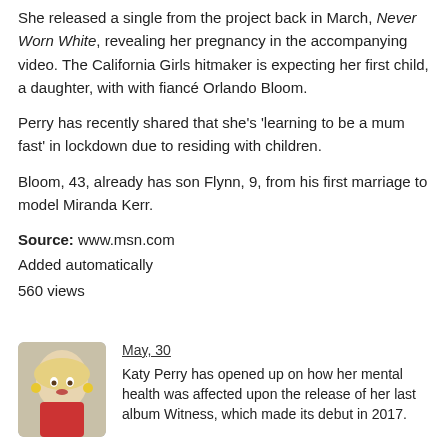She released a single from the project back in March, Never Worn White, revealing her pregnancy in the accompanying video. The California Girls hitmaker is expecting her first child, a daughter, with with fiancé Orlando Bloom.
Perry has recently shared that she's 'learning to be a mum fast' in lockdown due to residing with children.
Bloom, 43, already has son Flynn, 9, from his first marriage to model Miranda Kerr.
Source: www.msn.com
Added automatically
560 views
May, 30
Katy Perry has opened up on how her mental health was affected upon the release of her last album Witness, which made its debut in 2017.
May, 30